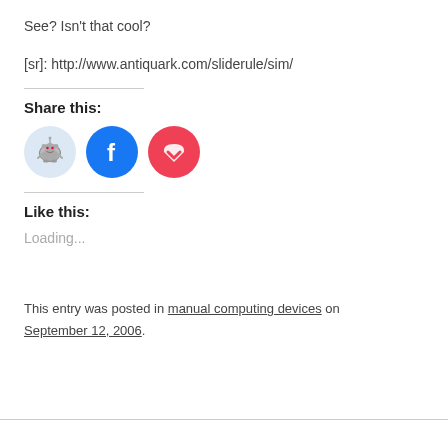See? Isn't that cool?
[sr]: http://www.antiquark.com/sliderule/sim/
Share this:
[Figure (illustration): Three social share buttons: Reddit (light blue circle with Reddit alien icon), Facebook (blue circle with Facebook f icon), Pocket (red circle with white heart/pocket icon)]
Like this:
Loading...
This entry was posted in manual computing devices on September 12, 2006.